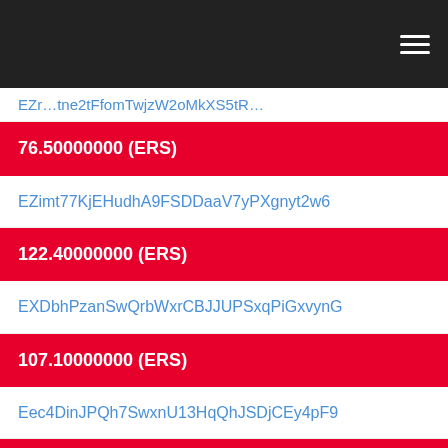≡
76.50000000 (ERS)
EZimt77KjEHudhA9FSDDaaV7yPXgnyt2w6
122.40000000 (ERS)
EXDbhPzanSwQrbWxrCBJJUPSxqPiGxvynG
107.10000000 (ERS)
Eec4DinJPQh7SwxnU13HqQhJSDjCEy4pF9
76.50000000 (ERS)
EVrE9cKouWQnne2tFfomTwjzW2oMkXS5tR
61.20000000 (ERS)
EX2UNS7snfTbqBQiyMYxeKJmWHiip5P449